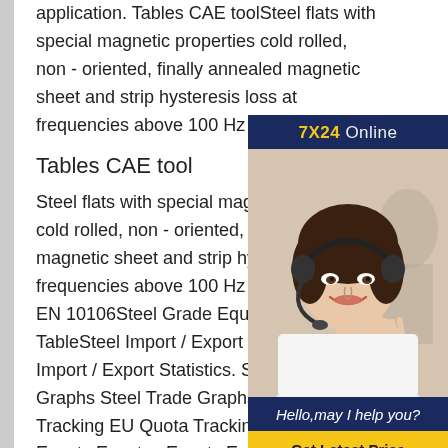application. Tables CAE toolSteel flats with special magnetic properties cold rolled, non - oriented, finally annealed magnetic sheet and strip hysteresis loss at frequencies above 100 Hz DIN EN 10106
Tables CAE tool
Steel flats with special magnetic properties cold rolled, non - oriented, finally annealed magnetic sheet and strip hysteresis loss at frequencies above 100 Hz DIN EN 10106 EN 10106Steel Grade Equivalency TableSteel Import / Export Statistics Steel Import / Export Statistics. Steel Trade Graphs Steel Trade Graphs. EU Quota Tracking EU Quota Tracking. Events Events Events . Events Events Our major market leading conference
[Figure (photo): Customer service representative wearing a headset, smiling. Sidebar overlay with '7X24 Online' header in gold/dark blue, photo of woman with headset, text 'Hello,may I help you?' in italic white on dark blue, and a yellow 'Get Latest Price' button.]